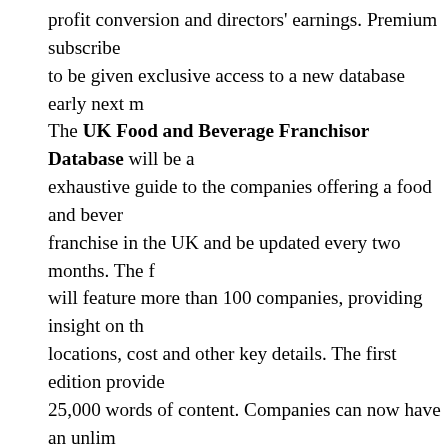profit conversion and directors' earnings. Premium subscribers are to be given exclusive access to a new database early next month. The UK Food and Beverage Franchisor Database will be an exhaustive guide to the companies offering a food and beverage franchise in the UK and be updated every two months. The file will feature more than 100 companies, providing insight on their locations, cost and other key details. The first edition provides 25,000 words of content. Companies can now have an unlimited number of people receive access to Propel Premium for a year for £895 plus VAT – whether they are an operator or a supplier. The subscription rate is £445 plus VAT for operators and £545 plus for suppliers. Email jo.charity@propelinfo.com to upgrade your subscription. Subscribers also receive access to Propel's library of lockdown videos and Friday Wrap interviews and now also have access to a curated video library of the sector's finest leaders and entrepreneurs, offering their insights on running outstanding businesses in the sector. Premium subscribers also receive the